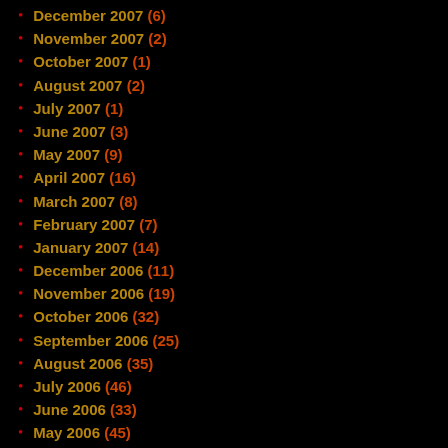December 2007 (6)
November 2007 (2)
October 2007 (1)
August 2007 (2)
July 2007 (1)
June 2007 (3)
May 2007 (9)
April 2007 (16)
March 2007 (8)
February 2007 (7)
January 2007 (14)
December 2006 (11)
November 2006 (19)
October 2006 (32)
September 2006 (25)
August 2006 (35)
July 2006 (46)
June 2006 (33)
May 2006 (45)
April 2006 (10)
March 2006 (10)
February 2006 (25)
January 2006 (30)
December 2005 (19)
November 2005 (32)